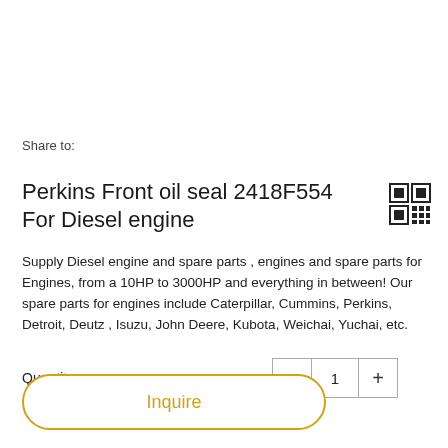Share to:
Perkins Front oil seal 2418F554 For Diesel engine
Supply Diesel engine and spare parts , engines and spare parts for Engines, from a 10HP to 3000HP and everything in between! Our spare parts for engines include Caterpillar, Cummins, Perkins, Detroit, Deutz , Isuzu, John Deere, Kubota, Weichai, Yuchai, etc.
Quantity: 1
Inquire